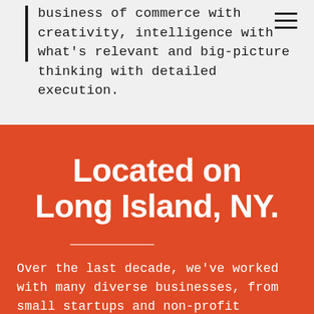business of commerce with creativity, intelligence with what's relevant and big-picture thinking with detailed execution.
Located on Long Island, NY.
Over the last decade, we've worked with many diverse businesses, from small startups and non-profit